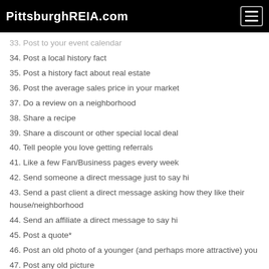PittsburghREIA.com
33. Post to your event calendar
34. Post a local history fact
35. Post a history fact about real estate
36. Post the average sales price in your market
37. Do a review on a neighborhood
38. Share a recipe
39. Share a discount or other special local deal
40. Tell people you love getting referrals
41. Like a few Fan/Business pages every week
42. Send someone a direct message just to say hi
43. Send a past client a direct message asking how they like their house/neighborhood
44. Send an affiliate a direct message to say hi
45. Post a quote*
46. Post an old photo of a younger (and perhaps more attractive) you
47. Post any old picture